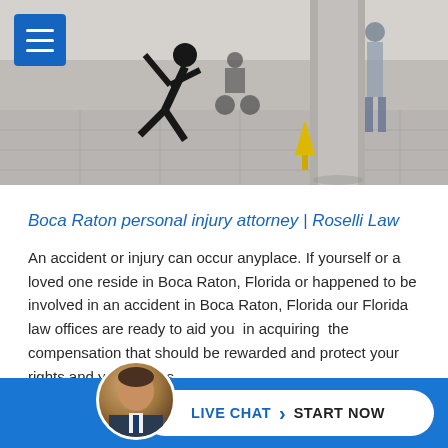[Figure (photo): Hero banner showing a person slipping and falling in what appears to be a public building or hospital corridor, with other people visible in the background.]
Boca Raton personal injury attorney | Roselli Law
An accident or injury can occur anyplace. If yourself or a loved one reside in Boca Raton, Florida or happened to be involved in an accident in Boca Raton, Florida our Florida law offices are ready to aid you in acquiring the compensation that should be rewarded and protect your rights and your claims.
At Roselli & Associates, attorneys are proud to take on cases for residents in Boca Raton, Florida in cases from Broward
[Figure (photo): Live chat call-to-action button bar with attorney avatar photo, showing LIVE CHAT > START NOW button on blue background]